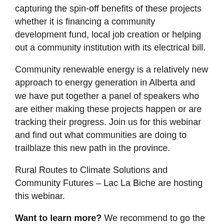capturing the spin-off benefits of these projects whether it is financing a community development fund, local job creation or helping out a community institution with its electrical bill.
Community renewable energy is a relatively new approach to energy generation in Alberta and we have put together a panel of speakers who are either making these projects happen or are tracking their progress. Join us for this webinar and find out what communities are doing to trailblaze this new path in the province.
Rural Routes to Climate Solutions and Community Futures – Lac La Biche are hosting this webinar.
Want to learn more? We recommend to go the Rural Routes to Climate Solutions YouTube channel and watching the community renewable energy presentations from community leaders in Innisfail, Peace River, Raymond and the Bow Valley. Click here to watch.